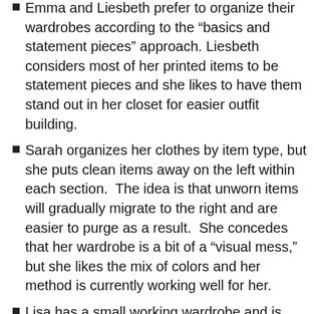Emma and Liesbeth prefer to organize their wardrobes according to the “basics and statement pieces” approach. Liesbeth considers most of her printed items to be statement pieces and she likes to have them stand out in her closet for easier outfit building.
Sarah organizes her clothes by item type, but she puts clean items away on the left within each section.  The idea is that unworn items will gradually migrate to the right and are easier to purge as a result.  She concedes that her wardrobe is a bit of a “visual mess,” but she likes the mix of colors and her method is currently working well for her.
Lisa has a small working wardrobe and is currently using an organization system similar to Sarah’s.  She rotates items to the back of each section after they are worn, but is willing to put items “out of order” from time to time in order to mix things up (so she’s not wearing